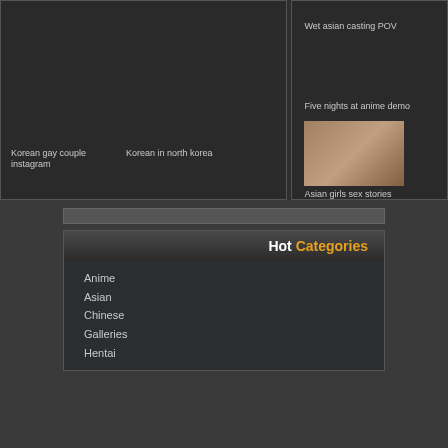Korean gay couple instagram
Korean in north korea
Wet asian casting POV
Five nights at anime demo
[Figure (photo): Photo of a young woman sitting on a bed]
Asian girls sex stories
Hot Categories
Anime
Asian
Chinese
Galleries
Hentai